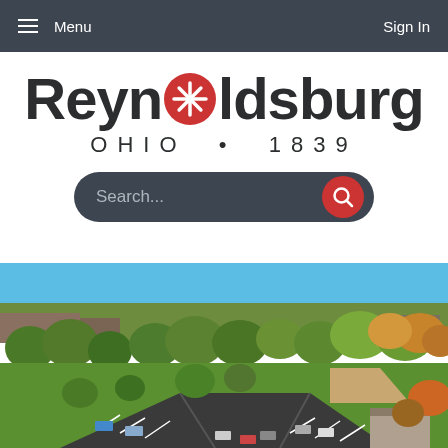Menu  |  Sign In
[Figure (logo): Reynoldsburg Ohio 1839 city logo with red star-circle replacing the 'o' in Reynolds]
Search...
[Figure (photo): Aerial view of Reynoldsburg Ohio showing a park with baseball fields, parking lot, trees in fall colors, and residential neighborhood in background under a blue sky]